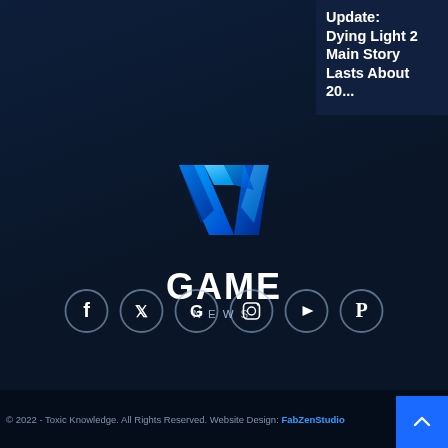Update: Dying Light 2 Main Story Lasts About 20...
[Figure (logo): V Game News logo — blue 3D ribbon V shape above the text GAME in white bold, with NEWS in light blue spaced letters below]
[Figure (infographic): Row of 6 social media icon circles: Facebook, Twitter, Google, Instagram, YouTube, Pinterest]
© 2022 - Toxic Knowledge. All Rights Reserved. Website Design: FabZenStudio